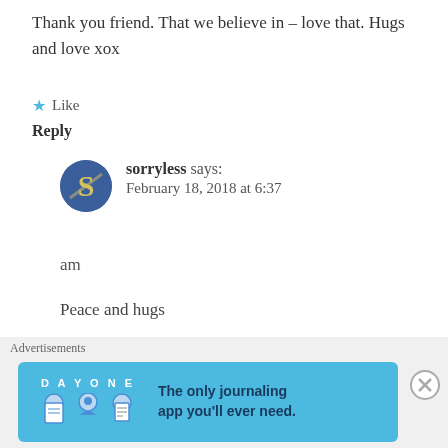Thank you friend. That we believe in – love that. Hugs and love xox
★ Like
Reply
sorryless says: February 18, 2018 at 6:37 am
Peace and hugs
★ Like
beautybeyondbones
Advertisements
[Figure (screenshot): DAY ONE app advertisement banner with blue background, icons and text 'The only journaling app you'll ever need.']